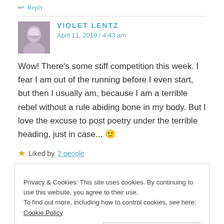↩ Reply
VIOLET LENTZ
April 11, 2019 / 4:43 am
Wow! There's some stiff competition this week. I fear I am out of the running before I even start, but then I usually am, because I am a terrible rebel without a rule abiding bone in my body. But I love the excuse to post poetry under the terrible heading, just in case... 🙂
★ Liked by 2 people
Privacy & Cookies: This site uses cookies. By continuing to use this website, you agree to their use.
To find out more, including how to control cookies, see here: Cookie Policy
Close and accept
I know your talentedness. Your Wonderfulness, might